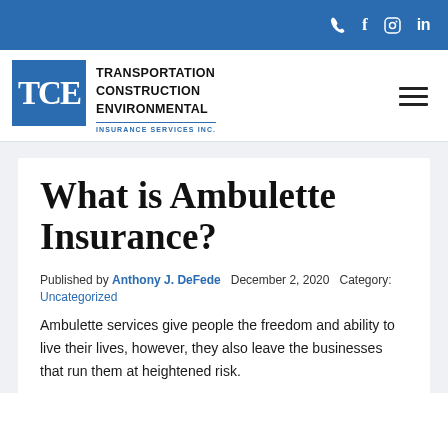TCE Insurance Services Inc. — Transportation Construction Environmental
What is Ambulette Insurance?
Published by Anthony J. DeFede   December 2, 2020   Category: Uncategorized
Ambulette services give people the freedom and ability to live their lives, however, they also leave the businesses that run them at heightened risk.